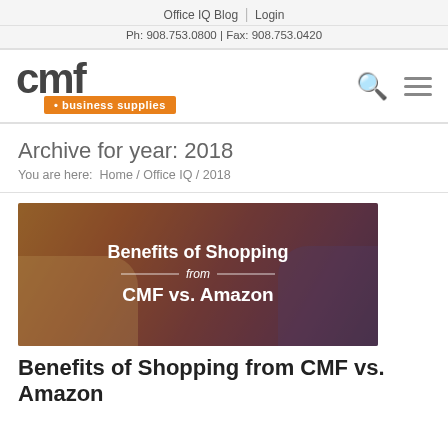Office IQ Blog  |  Login
Ph: 908.753.0800 | Fax: 908.753.0420
[Figure (logo): CMF Business Supplies logo with orange tag line]
Archive for year: 2018
You are here:  Home / Office IQ / 2018
[Figure (photo): Promotional image with text 'Benefits of Shopping from CMF vs. Amazon' overlaid on a photo of person typing on a laptop]
Benefits of Shopping from CMF vs. Amazon